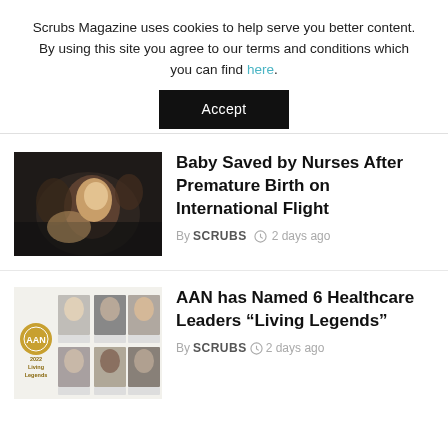Scrubs Magazine uses cookies to help serve you better content. By using this site you agree to our terms and conditions which you can find here.
Accept
Baby Saved by Nurses After Premature Birth on International Flight
By SCRUBS  2 days ago
[Figure (photo): Dark photo of people around a newborn baby on an airplane]
[Figure (photo): 2022 Living Legends collage showing 6 healthcare leaders headshots in a grid, with AAN gold badge logo]
AAN has Named 6 Healthcare Leaders “Living Legends”
By SCRUBS  2 days ago